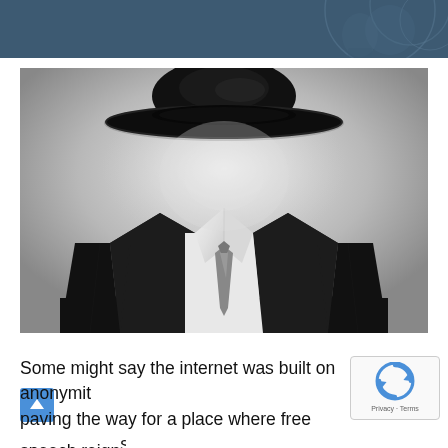[Figure (photo): Invisible man concept: a dark suit with white dress shirt collar and tie, topped by a black bowler hat, but no visible head or face — symbolizing anonymity on the internet. The background is a gradient grey.]
Some might say the internet was built on anonymity, paving the way for a place where free speech reigns